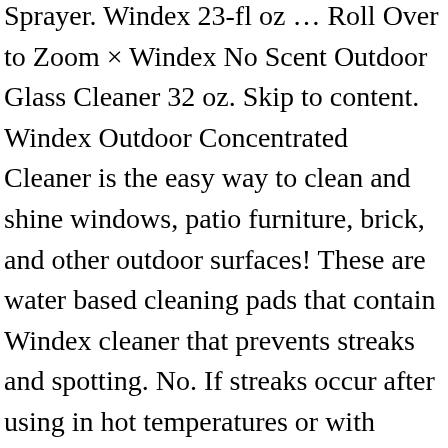Sprayer. Windex 23-fl oz … Roll Over to Zoom × Windex No Scent Outdoor Glass Cleaner 32 oz. Skip to content. Windex Outdoor Concentrated Cleaner is the easy way to clean and shine windows, patio furniture, brick, and other outdoor surfaces! These are water based cleaning pads that contain Windex cleaner that prevents streaks and spotting. No. If streaks occur after using in hot temperatures or with direct sunlight, repeat the process when the window is not under direct sunlight. Windex Outdoor Window Cleaner